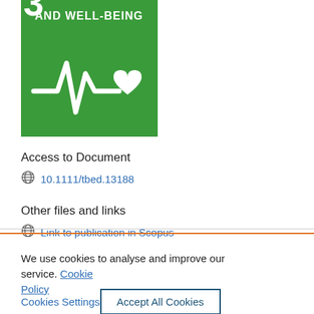[Figure (logo): UN SDG Goal 3 - Good Health and Well-Being logo: green square with white heartbeat/ECG line and heart icon, text AND WELL-BEING at top]
Access to Document
10.1111/tbed.13188
Other files and links
Link to publication in Scopus
We use cookies to analyse and improve our service. Cookie Policy
Cookies Settings
Accept All Cookies